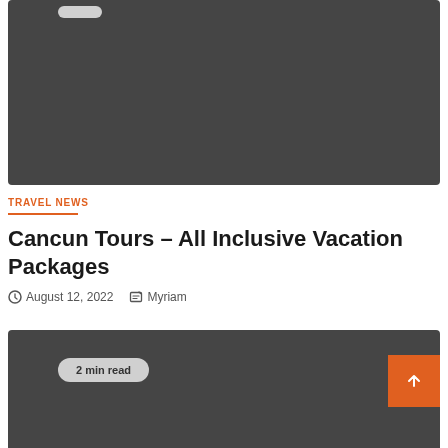[Figure (photo): Dark gray rectangular image placeholder at top of page]
TRAVEL NEWS
Cancun Tours – All Inclusive Vacation Packages
August 12, 2022   Myriam
[Figure (photo): Dark gray rectangular image placeholder at bottom of page with '2 min read' pill label]